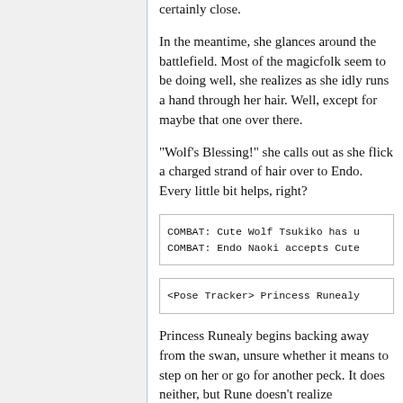certainly close.
In the meantime, she glances around the battlefield. Most of the magicfolk seem to be doing well, she realizes as she idly runs a hand through her hair. Well, except for maybe that one over there.
"Wolf's Blessing!" she calls out as she flick a charged strand of hair over to Endo. Every little bit helps, right?
COMBAT: Cute Wolf Tsukiko has u
COMBAT: Endo Naoki accepts Cute
<Pose Tracker> Princess Runealy
Princess Runealy begins backing away from the swan, unsure whether it means to step on her or go for another peck. It does neither, but Rune doesn't realize